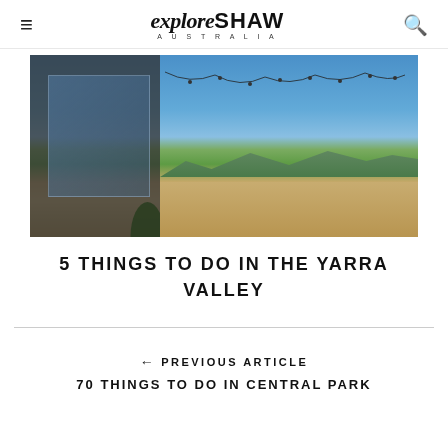exploreSHAW AUSTRALIA
[Figure (photo): Exterior of a winery or restaurant building with large glass panels, string lights, potted plants, and a gravel driveway. Mountains and vineyards visible in the background under a blue sky.]
5 THINGS TO DO IN THE YARRA VALLEY
← PREVIOUS ARTICLE
70 THINGS TO DO IN CENTRAL PARK